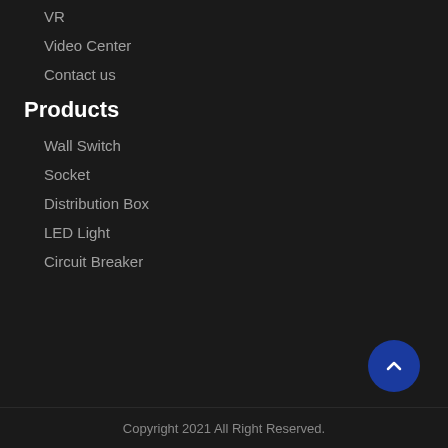VR
Video Center
Contact us
Products
Wall Switch
Socket
Distribution Box
LED Light
Circuit Breaker
Copyright 2021 All Right Reserved.